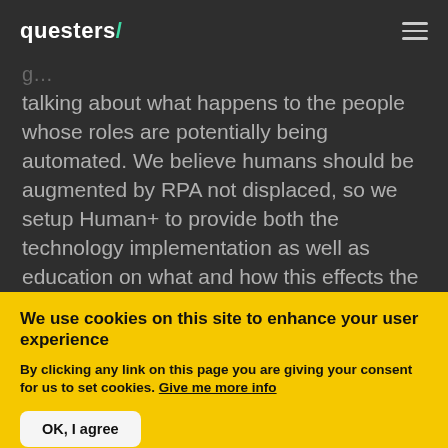questers/
talking about what happens to the people whose roles are potentially being automated. We believe humans should be augmented by RPA not displaced, so we setup Human+ to provide both the technology implementation as well as education on what and how this effects the people within an organisation and how you tackle this.
We use cookies on this site to enhance your user experience
By clicking any link on this page you are giving your consent for us to set cookies. Give me more info
OK, I agree